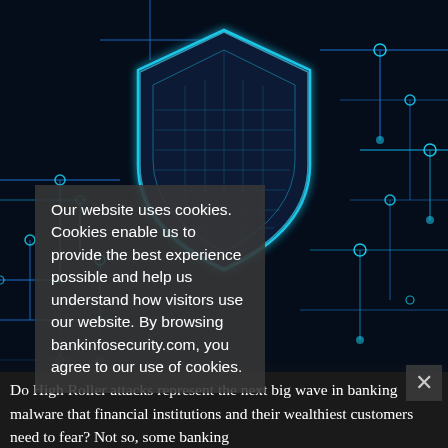[Figure (photo): Dark blue cybersecurity themed background image showing a glowing circuit board shield/crest with circuit traces and nodes in neon blue on a dark background. The shield is centrally positioned in the upper portion of the image.]
Our website uses cookies. Cookies enable us to provide the best experience possible and help us understand how visitors use our website. By browsing bankinfosecurity.com, you agree to our use of cookies.
Do High Roller attacks represent the next big wave in banking malware that financial institutions and their wealthiest customers need to fear? Not so, some banking